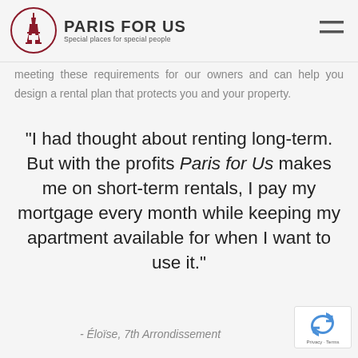PARIS FOR US — Special places for special people
meeting these requirements for our owners and can help you design a rental plan that protects you and your property.
“I had thought about renting long-term. But with the profits Paris for Us makes me on short-term rentals, I pay my mortgage every month while keeping my apartment available for when I want to use it.”
- Éloïse, 7th Arrondissement